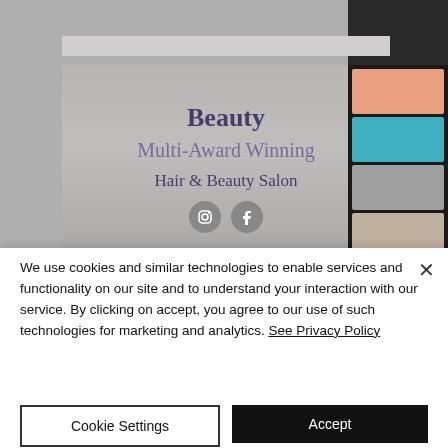[Figure (screenshot): Screenshot of a Hair & Beauty Salon website showing the heading 'Beauty Multi-Award Winning Hair & Beauty Salon' with social media icons (Instagram and Facebook), displayed on a laptop screen with a muted background. A dark panel on the right shows thumbnail images.]
We use cookies and similar technologies to enable services and functionality on our site and to understand your interaction with our service. By clicking on accept, you agree to our use of such technologies for marketing and analytics. See Privacy Policy
Cookie Settings
Accept